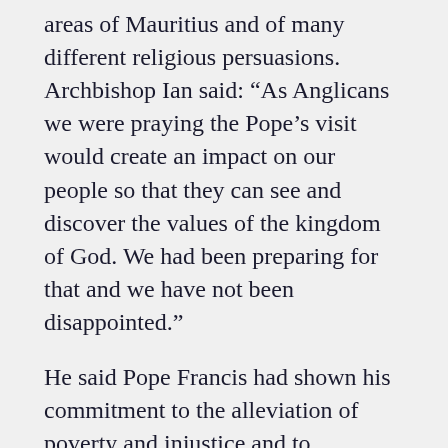areas of Mauritius and of many different religious persuasions. Archbishop Ian said: “As Anglicans we were praying the Pope’s visit would create an impact on our people so that they can see and discover the values of the kingdom of God. We had been preparing for that and we have not been disappointed.”
He said Pope Francis had shown his commitment to the alleviation of poverty and injustice and to encouraging people to care for God’s creation. He also challenged the country’s leaders and key representatives at a private meeting at the presidential palace to fight against social evils and resist the temptation of corruption.
“I think through all this he is making an important contribution to humanity,” said the